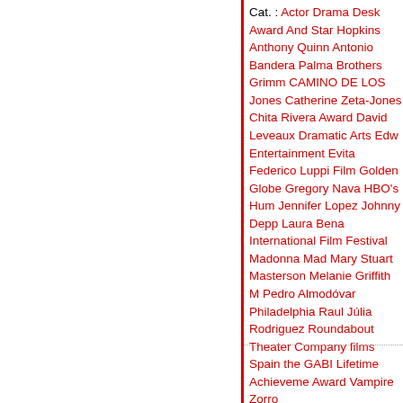Cat. : Actor Drama Desk Award And Star Hopkins Anthony Quinn Antonio Bandera Palma Brothers Grimm CAMINO DE LOS Jones Catherine Zeta-Jones Chita Rivera Award David Leveaux Dramatic Arts Edw Entertainment Evita Federico Luppi Film Golden Globe Gregory Nava HBO's Hum Jennifer Lopez Johnny Depp Laura Bena International Film Festival Madonna Mad Mary Stuart Masterson Melanie Griffith M Pedro Almodóvar Philadelphia Raul Júlia Rodriguez Roundabout Theater Company films Spain the GABI Lifetime Achieveme Award Vampire Zorro
Editor's blog   Editor's videoblog   P